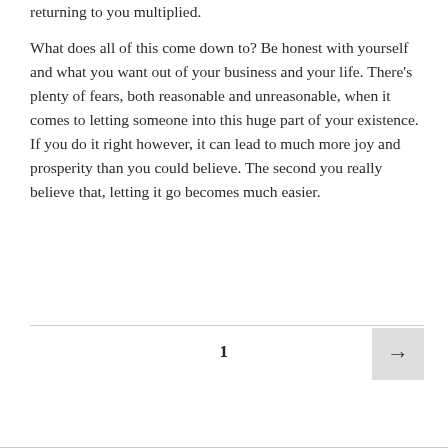returning to you multiplied.
What does all of this come down to? Be honest with yourself and what you want out of your business and your life. There’s plenty of fears, both reasonable and unreasonable, when it comes to letting someone into this huge part of your existence. If you do it right however, it can lead to much more joy and prosperity than you could believe. The second you really believe that, letting it go becomes much easier.
1